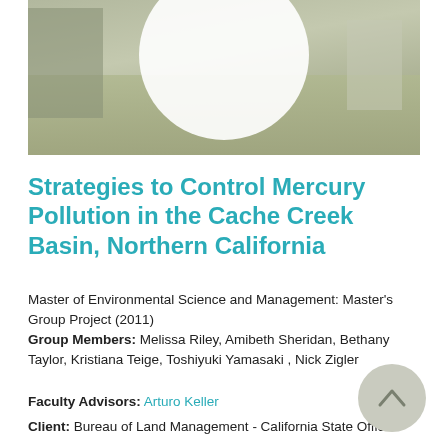[Figure (photo): Outdoor photograph showing a grassy field with buildings in the background and a large white circular shape/logo overlaid on top]
Strategies to Control Mercury Pollution in the Cache Creek Basin, Northern California
Master of Environmental Science and Management: Master's Group Project (2011)
Group Members: Melissa Riley, Amibeth Sheridan, Bethany Taylor, Kristiana Teige, Toshiyuki Yamasaki , Nick Zigler
Faculty Advisors: Arturo Keller
Client: Bureau of Land Management - California State Office